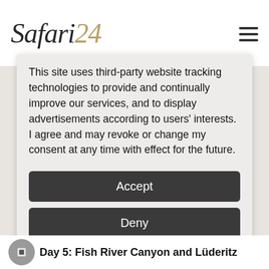Safari24
This site uses third-party website tracking technologies to provide and continually improve our services, and to display advertisements according to users' interests. I agree and may revoke or change my consent at any time with effect for the future.
Accept
Deny
more
Powered by usercentrics & eRecht24
Day 5: Fish River Canyon and Lüderitz